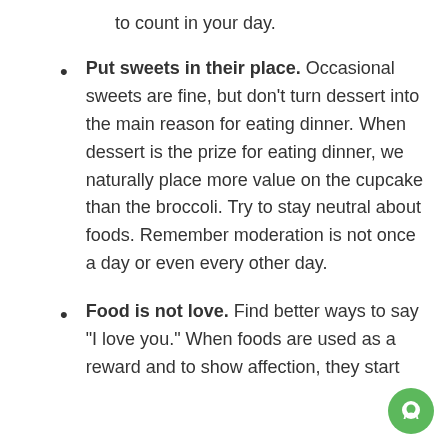to count in your day.
Put sweets in their place. Occasional sweets are fine, but don't turn dessert into the main reason for eating dinner. When dessert is the prize for eating dinner, we naturally place more value on the cupcake than the broccoli. Try to stay neutral about foods. Remember moderation is not once a day or even every other day.
Food is not love. Find better ways to say "I love you." When foods are used as a reward and to show affection, they start